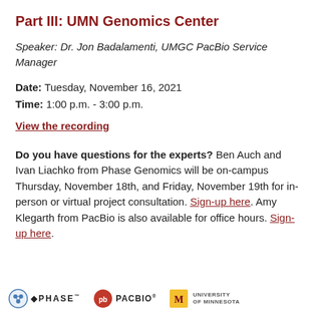Part III: UMN Genomics Center
Speaker: Dr. Jon Badalamenti, UMGC PacBio Service Manager
Date: Tuesday, November 16, 2021
Time: 1:00 p.m. - 3:00 p.m.
View the recording
Do you have questions for the experts? Ben Auch and Ivan Liachko from Phase Genomics will be on-campus Thursday, November 18th, and Friday, November 19th for in-person or virtual project consultation. Sign-up here. Amy Klegarth from PacBio is also available for office hours. Sign-up here.
[Figure (logo): Logos of Phase Genomics, PacBio, and University of Minnesota]